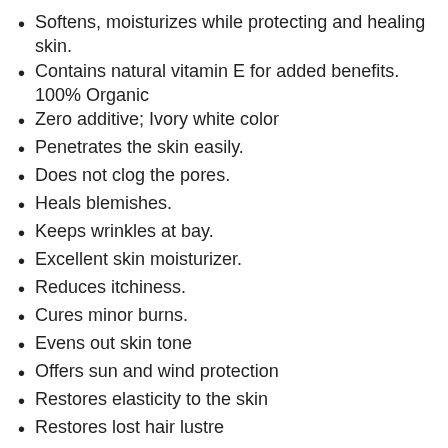Softens, moisturizes while protecting and healing skin.
Contains natural vitamin E for added benefits. 100% Organic
Zero additive; Ivory white color
Penetrates the skin easily.
Does not clog the pores.
Heals blemishes.
Keeps wrinkles at bay.
Excellent skin moisturizer.
Reduces itchiness.
Cures minor burns.
Evens out skin tone
Offers sun and wind protection
Restores elasticity to the skin
Restores lost hair lustre
Penetrates skin forming a lipid barrier to hold moisture in.
Prevents skin dryness and encourages cellular renewal.